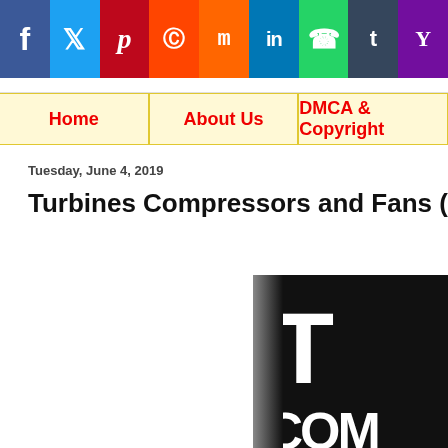Social sharing bar: Facebook, Twitter, Pinterest, Reddit, Mix, LinkedIn, WhatsApp, Tumblr, Yahoo
Navigation: Home | About Us | DMCA & Copyright
Tuesday, June 4, 2019
Turbines Compressors and Fans (2nd...
[Figure (photo): Book cover showing partial text 'T', 'COM', 'A' in white bold letters on black background]